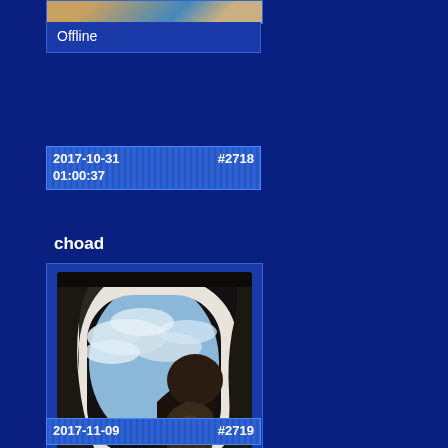[Figure (photo): Partially visible image at the top, cropped]
Offline
2017-10-31   #2718
01:00:37
choad
[Figure (photo): A cat or animal silhouette looking out an airplane window at clouds]
Offline
2017-11-09   #2719